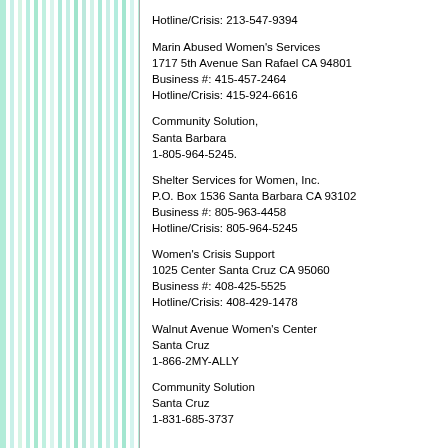Hotline/Crisis: 213-547-9394
Marin Abused Women's Services
1717 5th Avenue San Rafael CA 94801
Business #: 415-457-2464
Hotline/Crisis: 415-924-6616
Community Solution,
Santa Barbara
1-805-964-5245.
Shelter Services for Women, Inc.
P.O. Box 1536 Santa Barbara CA 93102
Business #: 805-963-4458
Hotline/Crisis: 805-964-5245
Women's Crisis Support
1025 Center Santa Cruz CA 95060
Business #: 408-425-5525
Hotline/Crisis: 408-429-1478
Walnut Avenue Women's Center
Santa Cruz
1-866-2MY-ALLY
Community Solution
Santa Cruz
1-831-685-3737